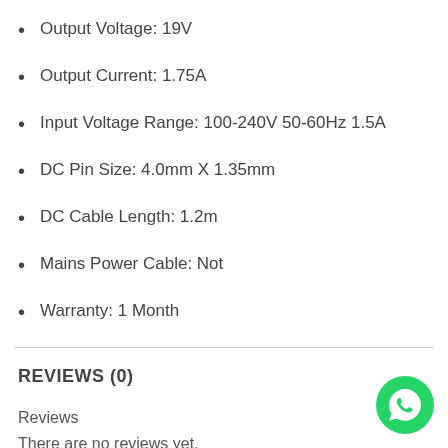Output Voltage: 19V
Output Current: 1.75A
Input Voltage Range: 100-240V 50-60Hz 1.5A
DC Pin Size: 4.0mm X 1.35mm
DC Cable Length: 1.2m
Mains Power Cable: Not
Warranty: 1 Month
REVIEWS (0)
Reviews
There are no reviews yet.